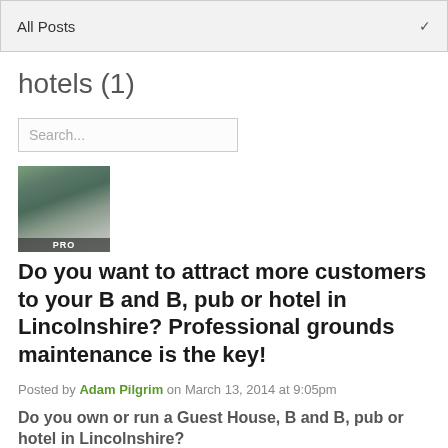All Posts
hotels (1)
Search...
[Figure (photo): Small thumbnail image of a vehicle or truck outdoors with a PRO badge label at the bottom]
Do you want to attract more customers to your B and B, pub or hotel in Lincolnshire? Professional grounds maintenance is the key!
Posted by Adam Pilgrim on March 13, 2014 at 9:05pm
Do you own or run a Guest House, B and B, pub or hotel in Lincolnshire?